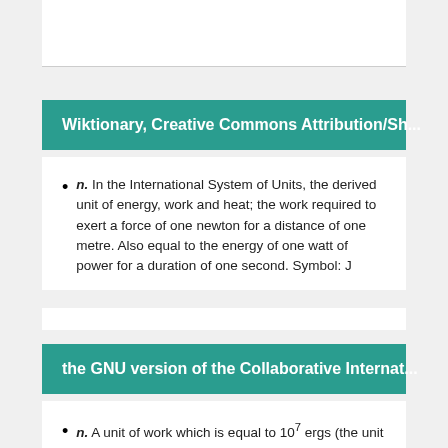Wiktionary, Creative Commons Attribution/Sh...
n. In the International System of Units, the derived unit of energy, work and heat; the work required to exert a force of one newton for a distance of one metre. Also equal to the energy of one watt of power for a duration of one second. Symbol: J
the GNU version of the Collaborative Internat...
n. A unit of work which is equal to 107 ergs (the unit of work in the C. G. S. system of units), and is equivalent to one watt-second, the energy expended in one second by an electric current of one ampere in a resistance of one ohm; also called the absolute joule. It is abbreviated J or j. The international joule is slightly larger, being 1.000167